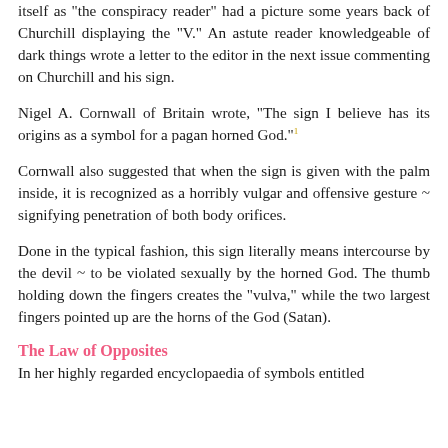itself as "the conspiracy reader" had a picture some years back of Churchill displaying the "V." An astute reader knowledgeable of dark things wrote a letter to the editor in the next issue commenting on Churchill and his sign.
Nigel A. Cornwall of Britain wrote, "The sign I believe has its origins as a symbol for a pagan horned God."
Cornwall also suggested that when the sign is given with the palm inside, it is recognized as a horribly vulgar and offensive gesture ~ signifying penetration of both body orifices.
Done in the typical fashion, this sign literally means intercourse by the devil ~ to be violated sexually by the horned God. The thumb holding down the fingers creates the "vulva," while the two largest fingers pointed up are the horns of the God (Satan).
The Law of Opposites
In her highly regarded encyclopaedia of symbols entitled